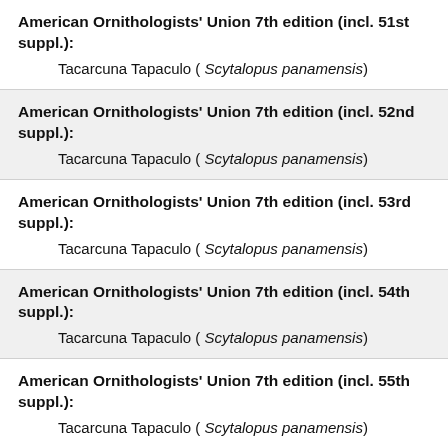American Ornithologists' Union 7th edition (incl. 51st suppl.): Tacarcuna Tapaculo ( Scytalopus panamensis)
American Ornithologists' Union 7th edition (incl. 52nd suppl.): Tacarcuna Tapaculo ( Scytalopus panamensis)
American Ornithologists' Union 7th edition (incl. 53rd suppl.): Tacarcuna Tapaculo ( Scytalopus panamensis)
American Ornithologists' Union 7th edition (incl. 54th suppl.): Tacarcuna Tapaculo ( Scytalopus panamensis)
American Ornithologists' Union 7th edition (incl. 55th suppl.): Tacarcuna Tapaculo ( Scytalopus panamensis)